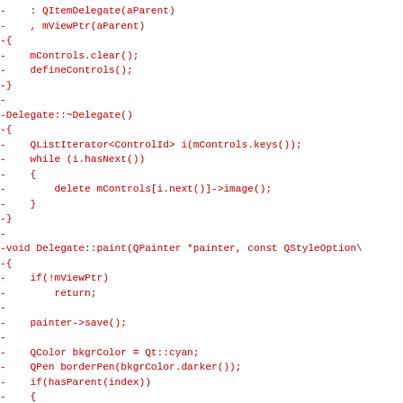[Figure (other): Code diff snippet showing C++ source code for a Delegate class with methods including constructor, destructor, and paint function. All lines are prefixed with '-' indicating removed lines, rendered in red on white background.]